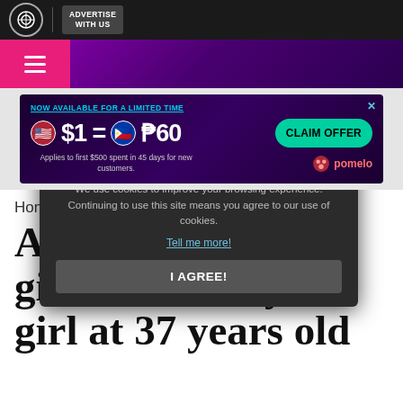ABS-CBN | ADVERTISE WITH US
[Figure (screenshot): Purple gradient header bar with pink hamburger menu icon on left]
[Figure (infographic): Advertisement banner: NOW AVAILABLE FOR A LIMITED TIME. $1 = P60. CLAIM OFFER. Applies to first $500 spent in 45 days for new customers. pomelo logo.]
Home >
[Figure (screenshot): Cookie consent modal: Welcome, Kapamilya! We use cookies to improve your browsing experience. Continuing to use this site means you agree to our use of cookies. Tell me more! I AGREE!]
Assu gives baby girl at 37 years old